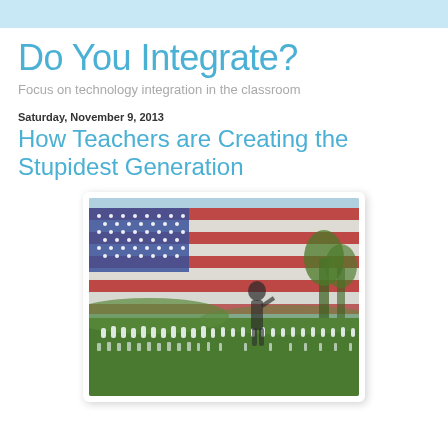Do You Integrate?
Focus on technology integration in the classroom
Saturday, November 9, 2013
How Teachers are Creating the Stupidest Generation
[Figure (photo): A cemetery with rows of white gravestones on green grass, overlaid with a large American flag and the silhouette of a soldier saluting]